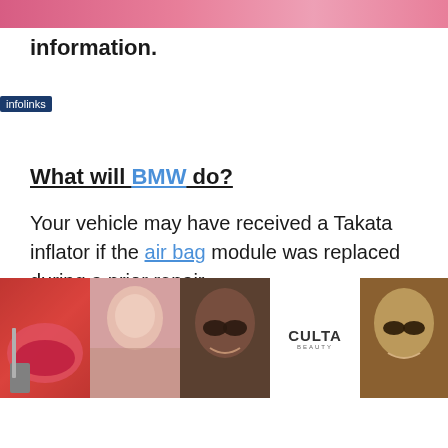[Figure (photo): Partial pink/red banner image at top of page, cropped]
information.
What will BMW do?
Your vehicle may have received a Takata inflator if the air bag module was replaced during a prior repair. driver air bag module will be
[Figure (photo): Ulta Beauty advertisement banner at bottom showing makeup/cosmetics images with 'SHOP NOW' call to action]